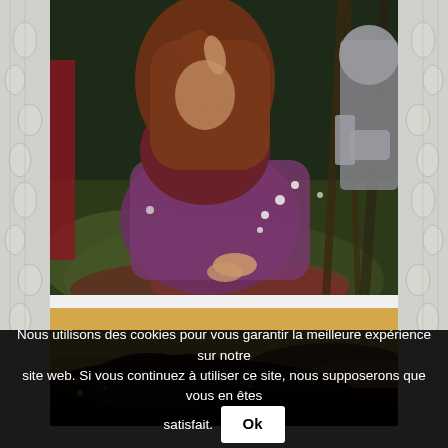[Figure (illustration): Pre-Raphaelite painting showing a woman with long auburn hair in a dark red/purple dress, seated on the ground among foliage and wildflowers. A knight in armor is partially visible to the right. Lush forest setting with brambles and white flowers.]
[Figure (illustration): Dark, moody painting showing what appears to be a dark horse or animal form against a warm golden-brown landscape background.]
Nous utilisons des cookies pour vous garantir la meilleure expérience sur notre site web. Si vous continuez à utiliser ce site, nous supposerons que vous en êtes satisfait. Ok